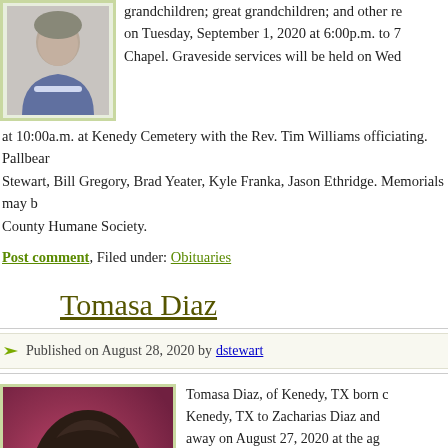[Figure (photo): Portrait photo of elderly woman in blue sweater with white collar, light yellowish-green border]
grandchildren; great grandchildren; and other re... on Tuesday, September 1, 2020 at 6:00p.m. to 7... Chapel. Graveside services will be held on Wed... at 10:00a.m. at Kenedy Cemetery with the Rev. Tim Williams officiating. Pallbear... Stewart, Bill Gregory, Brad Yeater, Kyle Franka, Jason Ethridge. Memorials may b... County Humane Society.
Post comment, Filed under: Obituaries
Tomasa Diaz
Published on August 28, 2020 by dstewart
[Figure (photo): Portrait photo of woman with dark brown hair against reddish/pink background, light yellowish-green border]
Tomasa Diaz, of Kenedy, TX born ... Kenedy, TX to Zacharias Diaz and ... away on August 27, 2020 at the ag... in death by her daughter: Olga Go... 1994 and her son Robert “Bobby” ... and grandchildren: Eunice and Eve...